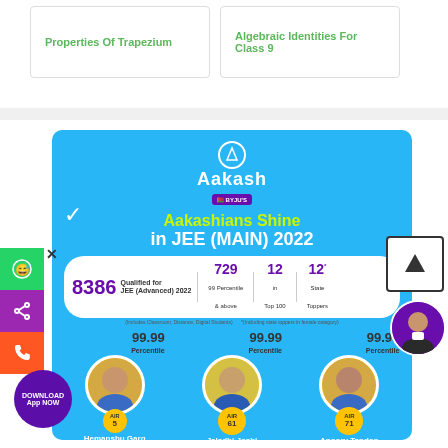Properties Of Trapezium
Algebraic Identities For Class 9
[Figure (infographic): Aakash BYJU's advertisement banner for JEE (MAIN) 2022 results. Shows 'Aakashians Shine in JEE (MAIN) 2022' with stats: 8386 Qualified for JEE (Advanced) 2022, 729 at 99 Percentile & above, 12 in Top 100, 12 State Toppers. Three toppers shown: Hemanshu Garg (99.99 Percentile, 5 Yr. Classroom), Jaladhi Joshi (99.99 Percentile, AIR 61, 5 Yr. Classroom), Apoorv Tandon (99.99 Percentile, AIR 71, 2 Yr. Classroom).]